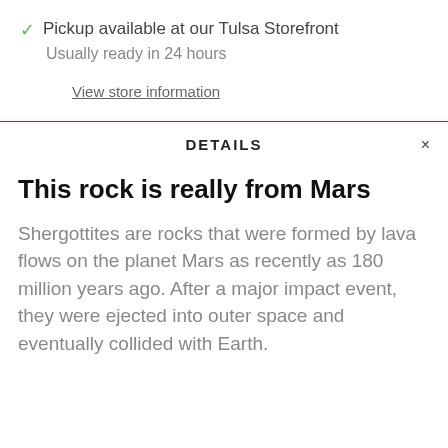✓ Pickup available at our Tulsa Storefront
Usually ready in 24 hours
View store information
DETAILS
This rock is really from Mars
Shergottites are rocks that were formed by lava flows on the planet Mars as recently as 180 million years ago. After a major impact event, they were ejected into outer space and eventually collided with Earth.